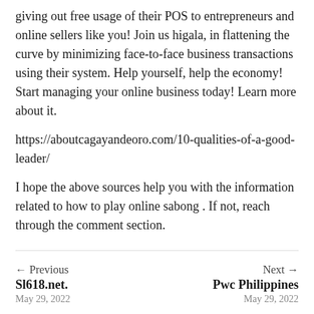giving out free usage of their POS to entrepreneurs and online sellers like you! Join us higala, in flattening the curve by minimizing face-to-face business transactions using their system. Help yourself, help the economy! Start managing your online business today! Learn more about it.
https://aboutcagayandeoro.com/10-qualities-of-a-good-leader/
I hope the above sources help you with the information related to how to play online sabong . If not, reach through the comment section.
← Previous
Sl618.net.
May 29, 2022
Next →
Pwc Philippines
May 29, 2022
Related Posts